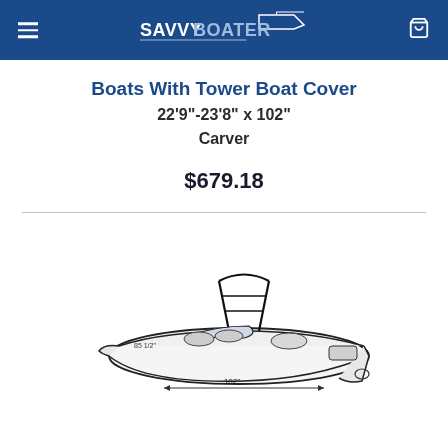SavvyBoater
Boats With Tower Boat Cover
22'9"-23'8" x 102"
Carver
$679.18
[Figure (illustration): Line drawing diagram of a boat with a wakeboard tower, shown in perspective view with measurement arrows indicating beam and length dimensions (85 1/2" and 102").]